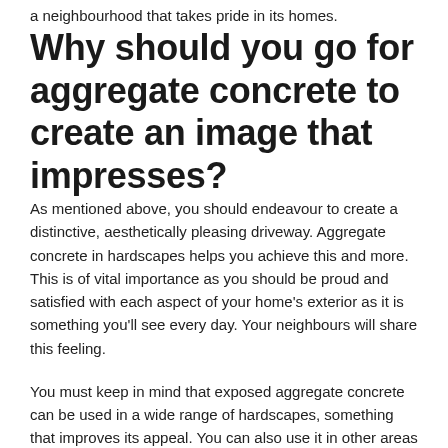a neighbourhood that takes pride in its homes.
Why should you go for aggregate concrete to create an image that impresses?
As mentioned above, you should endeavour to create a distinctive, aesthetically pleasing driveway. Aggregate concrete in hardscapes helps you achieve this and more. This is of vital importance as you should be proud and satisfied with each aspect of your home's exterior as it is something you'll see every day. Your neighbours will share this feeling.
You must keep in mind that exposed aggregate concrete can be used in a wide range of hardscapes, something that improves its appeal. You can also use it in other areas